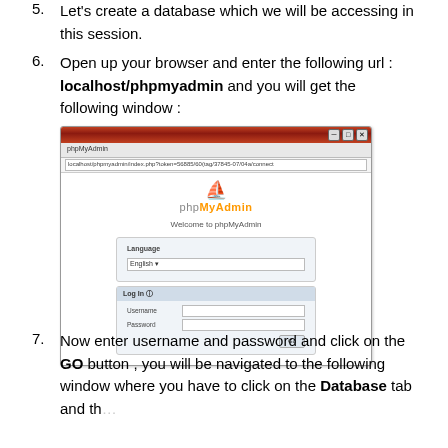5. Let's create a database which we will be accessing in this session.
6. Open up your browser and enter the following url : localhost/phpmyadmin and you will get the following window :
[Figure (screenshot): Screenshot of phpMyAdmin login page in a browser window, showing the phpMyAdmin logo, Welcome to phpMyAdmin text, Language selector, and Log In section with Username and Password fields.]
7. Now enter username and password and click on the GO button , you will be navigated to the following window where you have to click on the Database tab and then enter your database name and finally click on the create